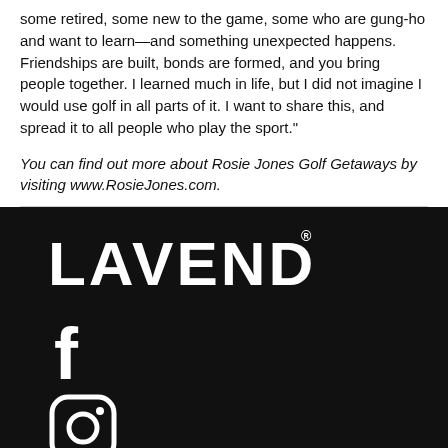some retired, some new to the game, some who are gung-ho and want to learn—and something unexpected happens. Friendships are built, bonds are formed, and you bring people together. I learned much in life, but I did not imagine I would use golf in all parts of it. I want to share this, and spread it to all people who play the sport."
You can find out more about Rosie Jones Golf Getaways by visiting www.RosieJones.com.
[Figure (logo): LAVENDER magazine logo in white bold all-caps text on black background]
[Figure (illustration): Facebook 'f' icon in white on black background]
[Figure (illustration): Instagram camera icon in white on black background]
[Figure (illustration): Twitter bird icon in white on black background (partially visible)]